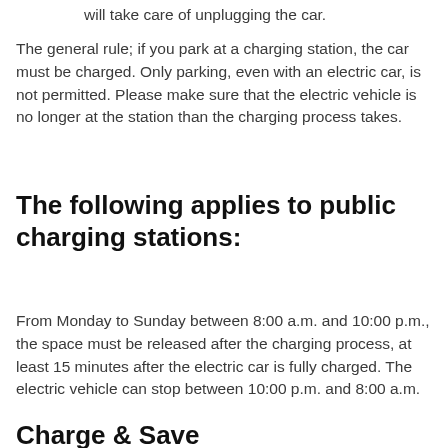will take care of unplugging the car.
The general rule; if you park at a charging station, the car must be charged. Only parking, even with an electric car, is not permitted. Please make sure that the electric vehicle is no longer at the station than the charging process takes.
The following applies to public charging stations:
From Monday to Sunday between 8:00 a.m. and 10:00 p.m., the space must be released after the charging process, at least 15 minutes after the electric car is fully charged. The electric vehicle can stop between 10:00 p.m. and 8:00 a.m.
Charge & Save